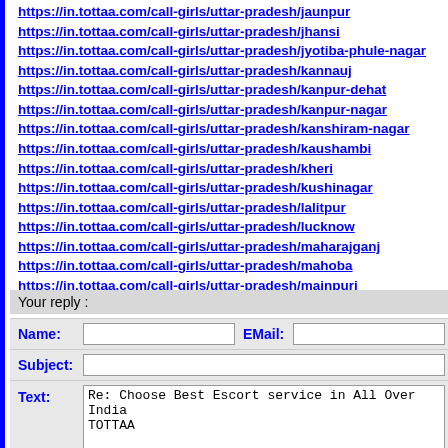https://in.tottaa.com/call-girls/uttar-pradesh/jaunpur
https://in.tottaa.com/call-girls/uttar-pradesh/jhansi
https://in.tottaa.com/call-girls/uttar-pradesh/jyotiba-phule-nagar
https://in.tottaa.com/call-girls/uttar-pradesh/kannauj
https://in.tottaa.com/call-girls/uttar-pradesh/kanpur-dehat
https://in.tottaa.com/call-girls/uttar-pradesh/kanpur-nagar
https://in.tottaa.com/call-girls/uttar-pradesh/kanshiram-nagar
https://in.tottaa.com/call-girls/uttar-pradesh/kaushambi
https://in.tottaa.com/call-girls/uttar-pradesh/kheri
https://in.tottaa.com/call-girls/uttar-pradesh/kushinagar
https://in.tottaa.com/call-girls/uttar-pradesh/lalitpur
https://in.tottaa.com/call-girls/uttar-pradesh/lucknow
https://in.tottaa.com/call-girls/uttar-pradesh/maharajganj
https://in.tottaa.com/call-girls/uttar-pradesh/mahoba
https://in.tottaa.com/call-girls/uttar-pradesh/mainpuri
Your reply :
Name:  EMail:
Subject:
Text: Re: Choose Best Escort service in All Over India TOTTAA